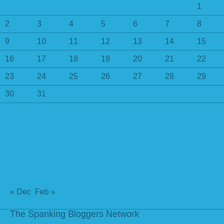|  |  |  |  |  |  | 1 |
| 2 | 3 | 4 | 5 | 6 | 7 | 8 |
| 9 | 10 | 11 | 12 | 13 | 14 | 15 |
| 16 | 17 | 18 | 19 | 20 | 21 | 22 |
| 23 | 24 | 25 | 26 | 27 | 28 | 29 |
| 30 | 31 |  |  |  |  |  |
« Dec  Feb »
The Spanking Bloggers Network